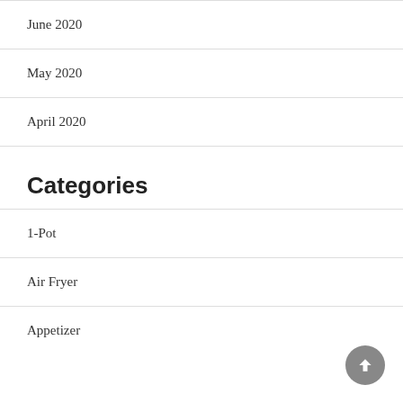June 2020
May 2020
April 2020
Categories
1-Pot
Air Fryer
Appetizer